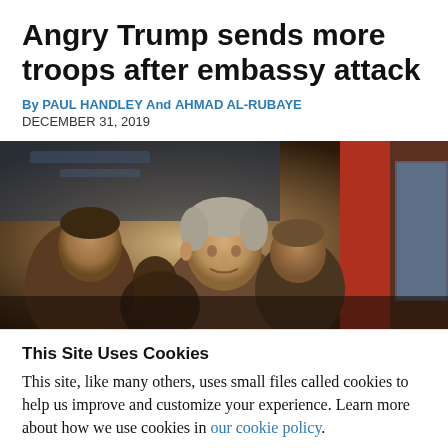Angry Trump sends more troops after embassy attack
By PAUL HANDLEY And AHMAD AL-RUBAYE
DECEMBER 31, 2019
[Figure (photo): Photo of people in a crowd, including a man with gray hair in the center foreground, with a red pillar/door visible on the right side of the image.]
This Site Uses Cookies
This site, like many others, uses small files called cookies to help us improve and customize your experience. Learn more about how we use cookies in our cookie policy.
Learn more about cookies
OK